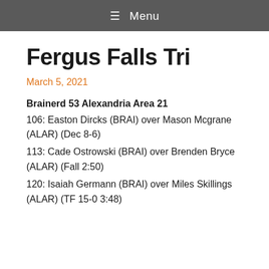☰ Menu
Fergus Falls Tri
March 5, 2021
Brainerd 53 Alexandria Area 21
106: Easton Dircks (BRAI) over Mason Mcgrane (ALAR) (Dec 8-6)
113: Cade Ostrowski (BRAI) over Brenden Bryce (ALAR) (Fall 2:50)
120: Isaiah Germann (BRAI) over Miles Skillings (ALAR) (TF 15-0 3:48)